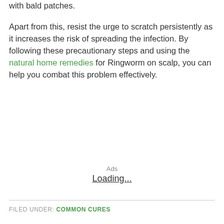with bald patches.

Apart from this, resist the urge to scratch persistently as it increases the risk of spreading the infection. By following these precautionary steps and using the natural home remedies for Ringworm on scalp, you can help you combat this problem effectively.
Ads
Loading...
FILED UNDER: COMMON CURES